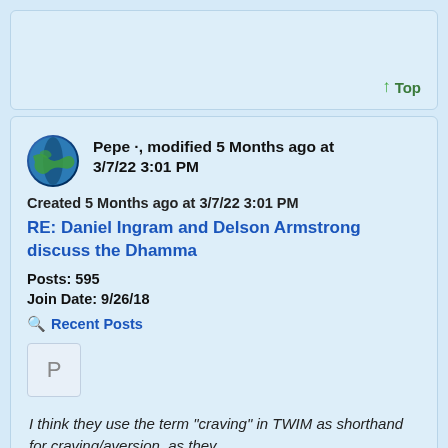↑ Top
Pepe ·, modified 5 Months ago at 3/7/22 3:01 PM
Created 5 Months ago at 3/7/22 3:01 PM
RE: Daniel Ingram and Delson Armstrong discuss the Dhamma
Posts: 595
Join Date: 9/26/18
Recent Posts
P
I think they use the term "craving" in TWIM as shorthand for craving/aversion, as they